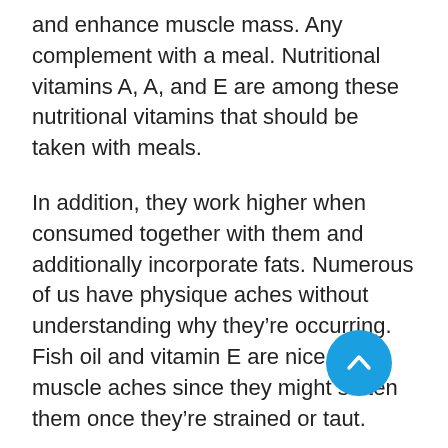and enhance muscle mass. Any complement with a meal. Nutritional vitamins A, A, and E are among these nutritional vitamins that should be taken with meals.
In addition, they work higher when consumed together with them and additionally incorporate fats. Numerous of us have physique aches without understanding why they're occurring. Fish oil and vitamin E are nice for muscle aches since they might soften them once they're strained or taut.
Iron is crucial for producing crimson blood cells manufacturing. These cells ship oxygen in your physique. Ladies would require a better iron consumption than males do. Chances are you'll be
[Figure (other): A blue circular scroll-to-top button with a white upward-pointing chevron icon, positioned over the body text.]